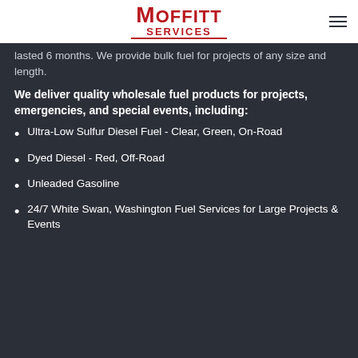Moffitt Services
lasted 6 months. We provide bulk fuel for projects of any size and length.
We deliver quality wholesale fuel products for projects, emergencies, and special events, including:
Ultra-Low Sulfur Diesel Fuel - Clear, Green, On-Road
Dyed Diesel - Red, Off-Road
Unleaded Gasoline
24/7 White Swan, Washington Fuel Services for Large Projects & Events